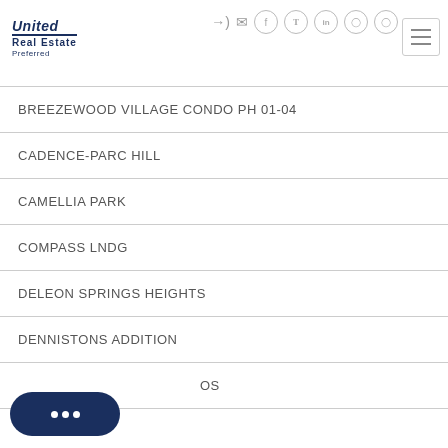United Real Estate Preferred
BREEZEWOOD VILLAGE CONDO PH 01-04
CADENCE-PARC HILL
CAMELLIA PARK
COMPASS LNDG
DELEON SPRINGS HEIGHTS
DENNISTONS ADDITION
...OS